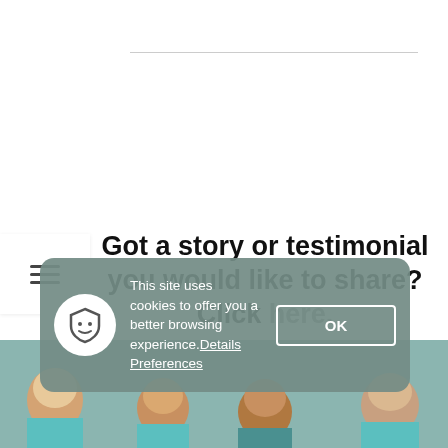[Figure (other): Horizontal rule separator line near top of page]
[Figure (other): Hamburger menu icon (three horizontal lines) in a white box on the left]
Got a story or testimonial you would like to share? Click here.
[Figure (photo): Bottom section with teal/sage green background showing partial heads/faces of multiple people in a row]
This site uses cookies to offer you a better browsing experience. Details Preferences